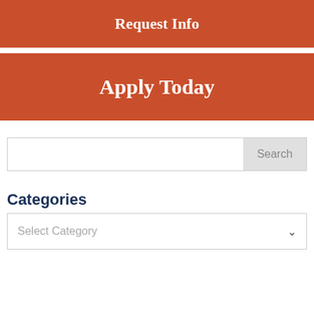Request Info
Apply Today
Search
Categories
Select Category